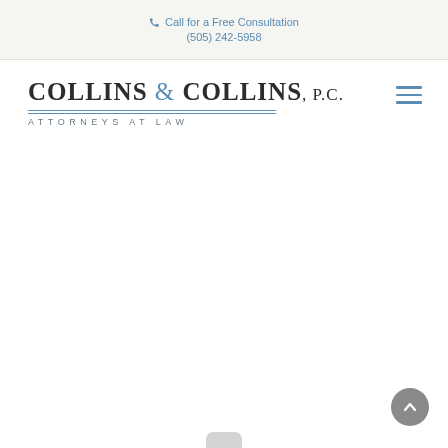Call for a Free Consultation (505) 242-5958
[Figure (logo): Collins & Collins, P.C. Attorneys at Law law firm logo with blue ampersand and horizontal rules]
[Figure (other): Hamburger menu icon (three horizontal blue lines)]
[Figure (other): Scroll-to-top circular button with upward arrow, grey background]